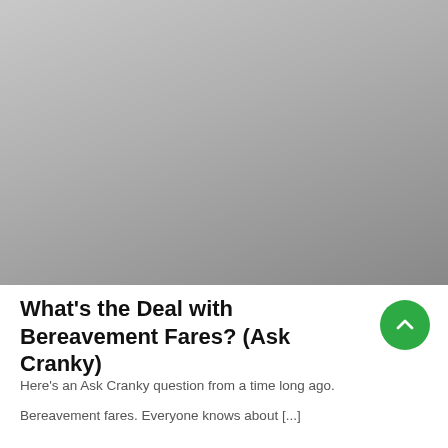[Figure (photo): A gray gradient placeholder image occupying the top portion of the page, transitioning from light gray at top to darker gray at the bottom.]
What’s the Deal with Bereavement Fares? (Ask Cranky)
Here’s an Ask Cranky question from a time long ago.
Bereavement fares. Everyone knows about […]